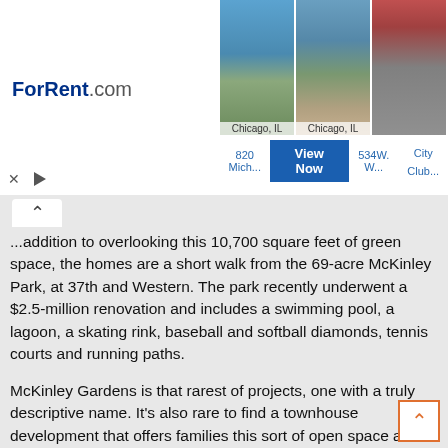[Figure (screenshot): ForRent.com advertisement banner showing apartment photos in Chicago, IL with links for 820 Mich..., 534W. W..., and City Club... with a blue 'View Now' button]
In addition to overlooking this 10,700 square feet of green space, the homes are a short walk from the 69-acre McKinley Park, at 37th and Western. The park recently underwent a $2.5-million renovation and includes a swimming pool, a lagoon, a skating rink, baseball and softball diamonds, tennis courts and running paths.
McKinley Gardens is that rarest of projects, one with a truly descriptive name. It's also rare to find a townhouse development that offers families this sort of open space at this sort of price point. In May, pre-construction prices ranged from the $280s to just under $300,000, although they were expected to increase soon.
In Lakeview, those prices will get you an unremarkable two-bedroom condo. More than a fair deal, a home with the...